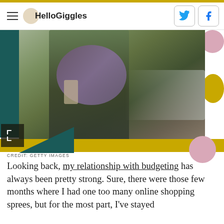HelloGiggles
[Figure (photo): Woman walking on a city street looking at her smartphone, wearing a green coat and purple scarf, carrying a black handbag. Blurred urban background with cars and shops.]
CREDIT: GETTY IMAGES
Looking back, my relationship with budgeting has always been pretty strong. Sure, there were those few months where I had one too many online shopping sprees, but for the most part, I've stayed